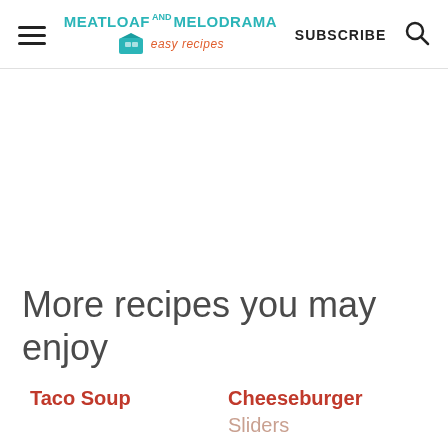Meatloaf and Melodrama easy recipes | SUBSCRIBE
More recipes you may enjoy
Taco Soup
Cheeseburger Sliders